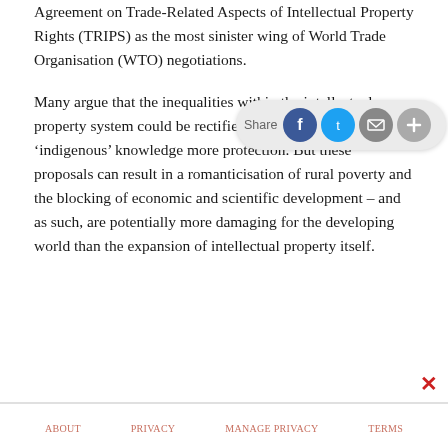Agreement on Trade-Related Aspects of Intellectual Property Rights (TRIPS) as the most sinister wing of World Trade Organisation (WTO) negotiations.
Many argue that the inequalities within the intellectual property system could be rectified by giving 'traditional' or 'indigenous' knowledge more protection. But these proposals can result in a romanticisation of rural poverty and the blocking of economic and scientific development – and as such, are potentially more damaging for the developing world than the expansion of intellectual property itself.
[Figure (screenshot): Share widget overlay with Share label and social media buttons for Facebook, Twitter, Email, and a plus button, along with a red X close button.]
ABOUT   PRIVACY   MANAGE PRIVACY   TERMS